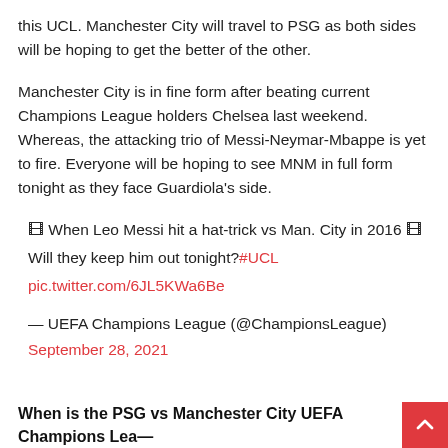this UCL. Manchester City will travel to PSG as both sides will be hoping to get the better of the other.
Manchester City is in fine form after beating current Champions League holders Chelsea last weekend. Whereas, the attacking trio of Messi-Neymar-Mbappe is yet to fire. Everyone will be hoping to see MNM in full form tonight as they face Guardiola's side.
🎞 When Leo Messi hit a hat-trick vs Man. City in 2016 🎞
Will they keep him out tonight?#UCL pic.twitter.com/6JL5KWa6Be
— UEFA Champions League (@ChampionsLeague)
September 28, 2021
When is the PSG vs Manchester City UEFA Champions Lea...